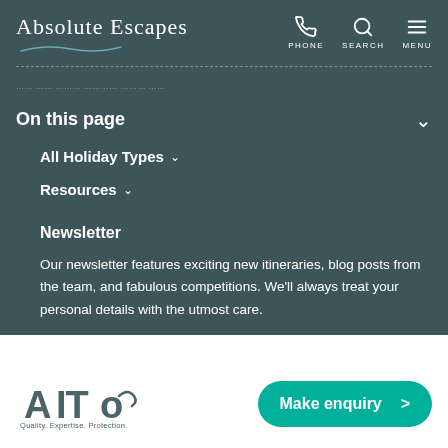Absolute Escapes
On this page
All Holiday Types
Resources
Newsletter
Our newsletter features exciting new itineraries, blog posts from the team, and fabulous competitions. We'll always treat your personal details with the utmost care.
[Figure (logo): AITO logo with tagline: Quality. Expertise. Protection.]
Make enquiry >